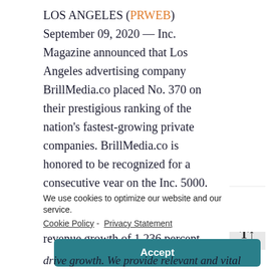LOS ANGELES (PRWEB) September 09, 2020 — Inc. Magazine announced that Los Angeles advertising company BrillMedia.co placed No. 370 on their prestigious ranking of the nation's fastest-growing private companies. BrillMedia.co is honored to be recognized for a consecutive year on the Inc. 5000. The hyperlocal advertising agency has experienced a three-year revenue growth of 1,236 percent.
We use cookies to optimize our website and our service. Cookie Policy - Privacy Statement
Accept
drive growth. We provide relevant and vital